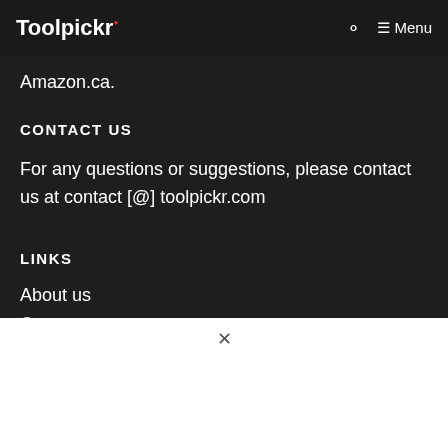Toolpickr — Menu
Amazon.ca.
CONTACT US
For any questions or suggestions, please contact us at contact [@] toolpickr.com
LINKS
About us